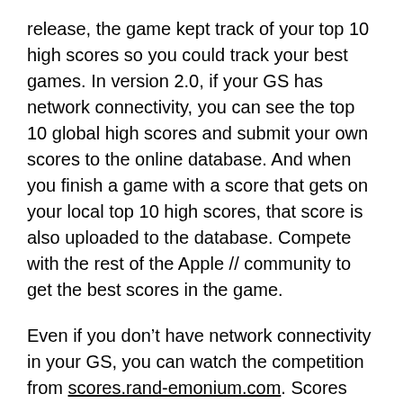release, the game kept track of your top 10 high scores so you could track your best games. In version 2.0, if your GS has network connectivity, you can see the top 10 global high scores and submit your own scores to the online database. And when you finish a game with a score that gets on your local top 10 high scores, that score is also uploaded to the database. Compete with the rest of the Apple // community to get the best scores in the game.
Even if you don't have network connectivity in your GS, you can watch the competition from scores.rand-emonium.com. Scores have the initials of the player who submitted them, a date stamp and an indication of whether the game was played at 60 or 50 Hz.
For more information about the game and to download a copy, visit the BuGS page.